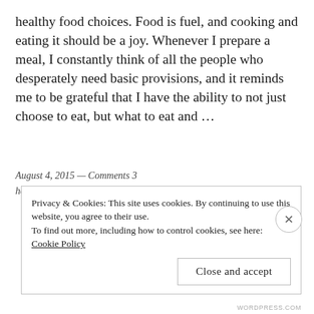healthy food choices. Food is fuel, and cooking and eating it should be a joy. Whenever I prepare a meal, I constantly think of all the people who desperately need basic provisions, and it reminds me to be grateful that I have the ability to not just choose to eat, but what to eat and …
August 4, 2015 — Comments 3
holistic living
Privacy & Cookies: This site uses cookies. By continuing to use this website, you agree to their use.
To find out more, including how to control cookies, see here:
Cookie Policy
Close and accept
WORDPRESS.COM